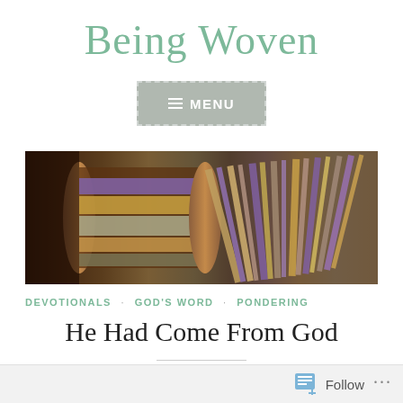Being Woven
[Figure (screenshot): Menu button with hamburger icon and MENU text, gray background with dashed border]
[Figure (photo): Close-up photo of yarn spools and twisted fiber in purple, gold, and beige tones on a spinning wheel or loom]
DEVOTIONALS · GOD'S WORD · PONDERING
He Had Come From God
Follow ...